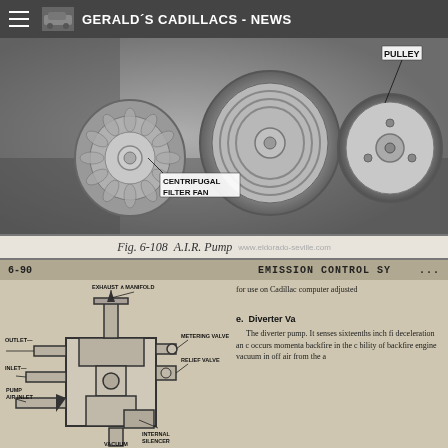GERALD´S CADILLACS - NEWS
[Figure (photo): Black and white photograph of an A.I.R. Pump showing the centrifugal filter fan and pulley components. Labels point to PULLEY and CENTRIFUGAL FILTER FAN.]
Fig. 6-108  A.I.R. Pump
6-90    EMISSION CONTROL SYSTEM
[Figure (engineering-diagram): Technical cross-section diagram of a diverter valve / check valve assembly showing: EXHAUST MANIFOLD at top, OUTLET on left upper, METERING VALVE on right upper, RELIEF VALVE on right middle, INLET on left middle, PUMP AIR INLET at lower left, INTERNAL SILENCER at lower right, VACUUM at bottom right.]
for use on Cadillac computer adjusted
e. Diverter Va
The diverter pump. It senses sixteenths inch fi deceleration an c occurs momenta backfire in the c bility of backfire engine vacuum in off air from the a